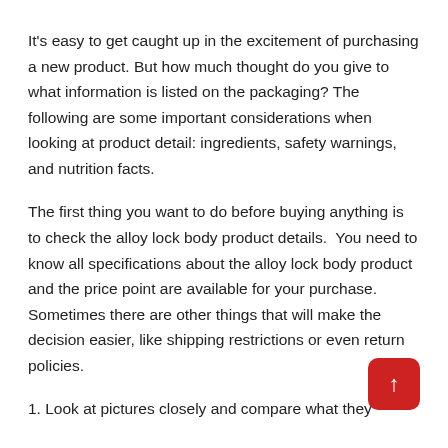It's easy to get caught up in the excitement of purchasing a new product. But how much thought do you give to what information is listed on the packaging? The following are some important considerations when looking at product detail: ingredients, safety warnings, and nutrition facts.
The first thing you want to do before buying anything is to check the alloy lock body product details. You need to know all specifications about the alloy lock body product and the price point are available for your purchase. Sometimes there are other things that will make the decision easier, like shipping restrictions or even return policies.
1. Look at pictures closely and compare what they